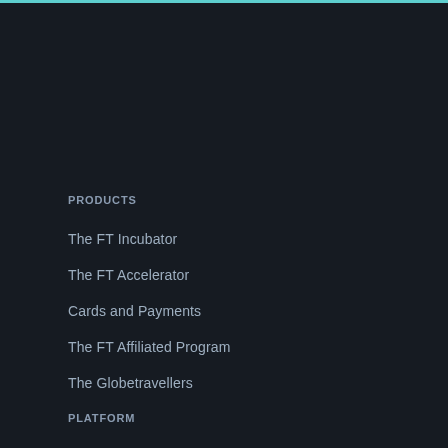PRODUCTS
The FT Incubator
The FT Accelerator
Cards and Payments
The FT Affiliated Program
The Globetravellers
PLATFORM